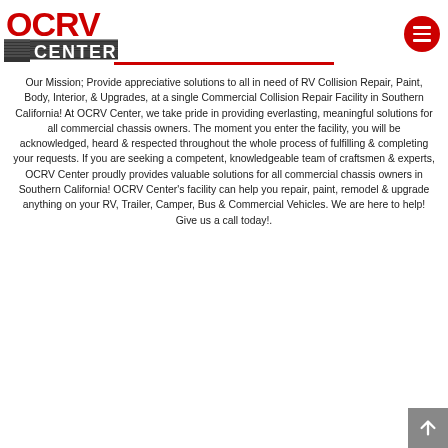OCRV Center logo and menu button
Our Mission; Provide appreciative solutions to all in need of RV Collision Repair, Paint, Body, Interior, & Upgrades, at a single Commercial Collision Repair Facility in Southern California! At OCRV Center, we take pride in providing everlasting, meaningful solutions for all commercial chassis owners. The moment you enter the facility, you will be acknowledged, heard & respected throughout the whole process of fulfilling & completing your requests. If you are seeking a competent, knowledgeable team of craftsmen & experts, OCRV Center proudly provides valuable solutions for all commercial chassis owners in Southern California! OCRV Center's facility can help you repair, paint, remodel & upgrade anything on your RV, Trailer, Camper, Bus & Commercial Vehicles. We are here to help! Give us a call today!.